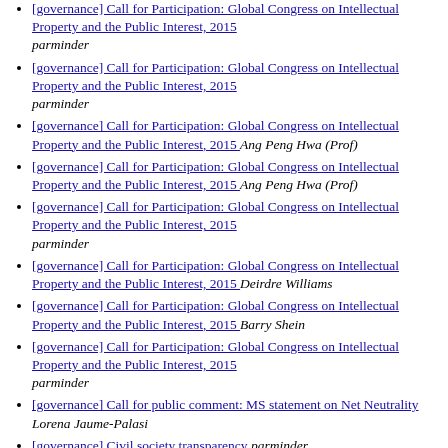[governance] Call for Participation: Global Congress on Intellectual Property and the Public Interest, 2015  parminder
[governance] Call for Participation: Global Congress on Intellectual Property and the Public Interest, 2015  parminder
[governance] Call for Participation: Global Congress on Intellectual Property and the Public Interest, 2015  Ang Peng Hwa (Prof)
[governance] Call for Participation: Global Congress on Intellectual Property and the Public Interest, 2015  Ang Peng Hwa (Prof)
[governance] Call for Participation: Global Congress on Intellectual Property and the Public Interest, 2015  parminder
[governance] Call for Participation: Global Congress on Intellectual Property and the Public Interest, 2015  Deirdre Williams
[governance] Call for Participation: Global Congress on Intellectual Property and the Public Interest, 2015  Barry Shein
[governance] Call for Participation: Global Congress on Intellectual Property and the Public Interest, 2015  parminder
[governance] Call for public comment: MS statement on Net Neutrality  Lorena Jaume-Palasi
[governance] Civil society transparency  parminder